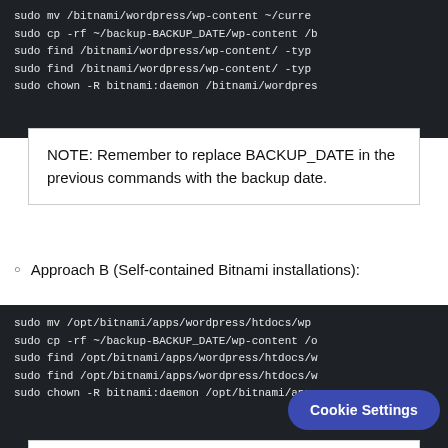[Figure (screenshot): Dark terminal/code block showing sudo commands for Approach A (bitnami/wordpress path): sudo mv /bitnami/wordpress/wp-content ~/curre..., sudo cp -rf ~/backup-BACKUP_DATE/wp-content /b..., sudo find /bitnami/wordpress/wp-content/ -typ..., sudo find /bitnami/wordpress/wp-content/ -typ..., sudo chown -R bitnami:daemon /bitnami/wordpres...]
NOTE: Remember to replace BACKUP_DATE in the previous commands with the backup date.
Approach B (Self-contained Bitnami installations):
[Figure (screenshot): Dark terminal/code block showing sudo commands for Approach B (opt/bitnami/apps/wordpress/htdocs path): sudo mv /opt/bitnami/apps/wordpress/htdocs/wp..., sudo cp -rf ~/backup-BACKUP_DATE/wp-content /o..., sudo find /opt/bitnami/apps/wordpress/htdocs/w..., sudo find /opt/bitnami/apps/wordpress/htdocs/w..., sudo chown -R bitnami:daemon /opt/bitnami/app...]
NOTE: Remember to replace BACKUP_DATE in the previous commands with the backup date.